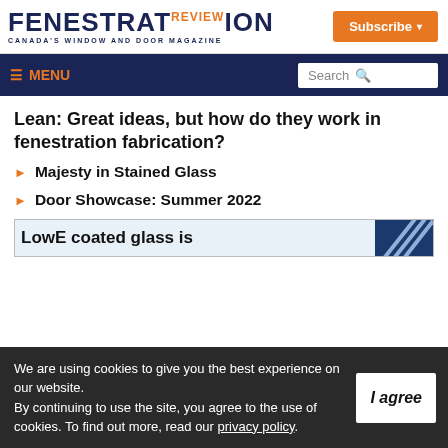FENESTRATION REVIEW — Canada's Window and Door Magazine
Lean: Great ideas, but how do they work in fenestration fabrication?
Majesty in Stained Glass
Door Showcase: Summer 2022
[Figure (screenshot): Partial ad banner showing text 'LowE coated glass is' with a decorative glass panel image on the right]
We are using cookies to give you the best experience on our website. By continuing to use the site, you agree to the use of cookies. To find out more, read our privacy policy.